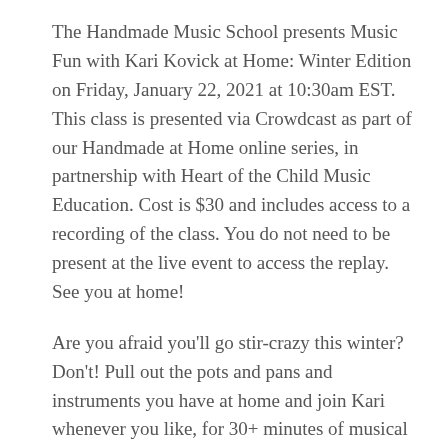The Handmade Music School presents Music Fun with Kari Kovick at Home: Winter Edition on Friday, January 22, 2021 at 10:30am EST.  This class is presented via Crowdcast as part of our Handmade at Home online series, in partnership with Heart of the Child Music Education. Cost is $30 and includes access to a recording of the class. You do not need to be present at the live event to access the replay. See you at home!
Are you afraid you'll go stir-crazy this winter? Don't! Pull out the pots and pans and instruments you have at home and join Kari whenever you like, for 30+ minutes of musical fun for your 1 to 6 year old child. Kari's joyful interactive family music classes have earned it...